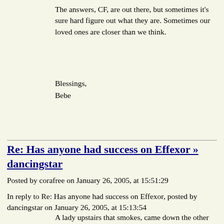The answers, CF, are out there, but sometimes it's sure hard figure out what they are. Sometimes our loved ones are closer than we think.
Blessings,
Bebe
Re: Has anyone had success on Effexor » dancingstar
Posted by corafree on January 26, 2005, at 15:51:29
In reply to Re: Has anyone had success on Effexor, posted by dancingstar on January 26, 2005, at 15:13:54
A lady upstairs that smokes, came down the other and I asked her in. She said she had something to talk to me about. "The can smell the smoke from your house coming into mine." she said. I asked her to leave, and then said, like a child would, "I don't want you to be my friend anymore." I'm still laughing at myself about that. I pray, like you, for aid in the challenges in my